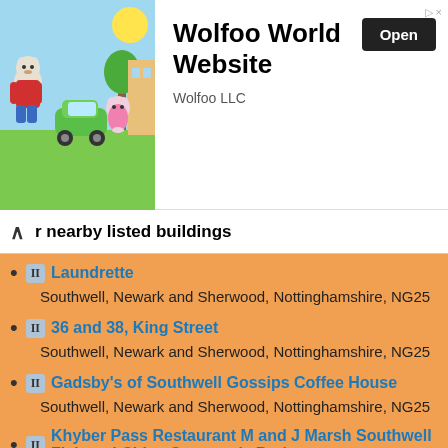[Figure (screenshot): Advertisement banner for Wolfoo World Website by Wolfoo LLC, showing cartoon characters and an Open button]
r nearby listed buildings
II Laundrette — Southwell, Newark and Sherwood, Nottinghamshire, NG25
II 36 and 38, King Street — Southwell, Newark and Sherwood, Nottinghamshire, NG25
II Gadsby's of Southwell Gossips Coffee House — Southwell, Newark and Sherwood, Nottinghamshire, NG25
II Khyber Pass Restaurant M and J Marsh Southwell Fish and Chips Sweeney's Barber — Southwell, Newark and Sherwood, Nottinghamshire, NG25